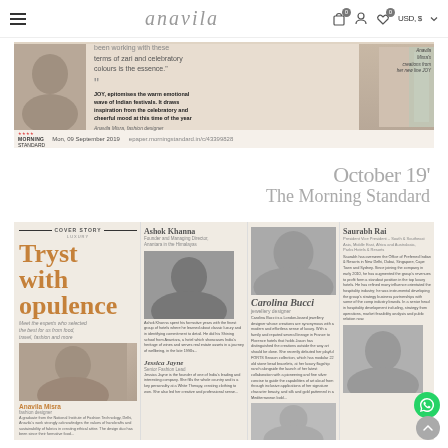anavila — navigation bar with cart, user, wishlist icons and USD $ currency selector
[Figure (screenshot): Press clipping from The Morning Standard dated Mon, 09 September 2019 featuring a quote by Anavila Misra about JOY collection: 'JOY, epitomises the warm emotional wave of Indian festivals. It draws inspiration from the celebratory and cheerful mood at this time of the year' — Anavila Misra, fashion designer. URL: epaper.morningstandard.in/c/43399828]
October 19'
The Morning Standard
[Figure (screenshot): Magazine spread showing a cover story titled 'Tryst with opulence' — Meet the experts who selected the best for us from food, travel, fashion and more. Features profiles of Ashok Khanna (Founder and Managing Director, Anantara in the Himalayas), Carolina Bucci (Jewellery designer), Saurabh Rai (President Vice President, South & Southeast Asia, Middle East, Africa and Australasia, Parks Hotel & Resorts), Anavila Misra (Fashion designer), Jessica Jayne (Senior Fashion Lead), and Manish Mehrotra (Corporate Chef, Indian Accent).]